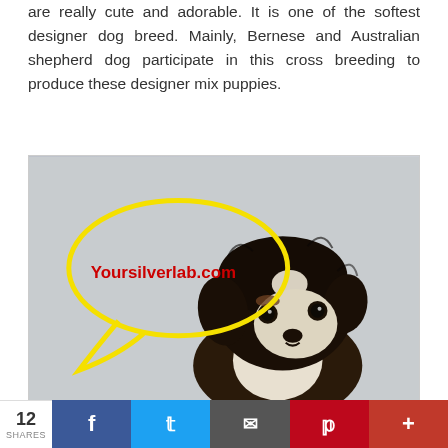are really cute and adorable. It is one of the softest designer dog breed. Mainly, Bernese and Australian shepherd dog participate in this cross breeding to produce these designer mix puppies.
[Figure (photo): A fluffy puppy (Bernese/Australian Shepherd mix) with black, white, and brown fur against a grey background. A yellow speech bubble outline is overlaid on the left side of the image with the red bold text 'Yoursilverlab.com' inside it.]
12 SHARES | Facebook | Twitter | Email | Pinterest | Plus